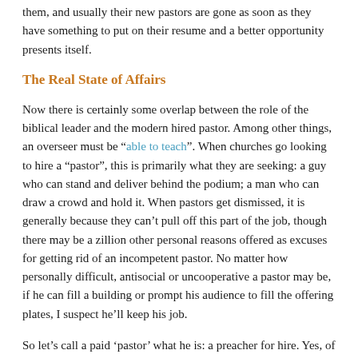them, and usually their new pastors are gone as soon as they have something to put on their resume and a better opportunity presents itself.
The Real State of Affairs
Now there is certainly some overlap between the role of the biblical leader and the modern hired pastor. Among other things, an overseer must be “able to teach”. When churches go looking to hire a “pastor”, this is primarily what they are seeking: a guy who can stand and deliver behind the podium; a man who can draw a crowd and hold it. When pastors get dismissed, it is generally because they can’t pull off this part of the job, though there may be a zillion other personal reasons offered as excuses for getting rid of an incompetent pastor. No matter how personally difficult, antisocial or uncooperative a pastor may be, if he can fill a building or prompt his audience to fill the offering plates, I suspect he’ll keep his job.
So let’s call a paid ‘pastor’ what he is: a preacher for hire. Yes, of course he may wear many other hats depending on the church and the level of authority conferred on him by the elders who hired him. However, he is primarily in the hiring of a preacher to preach.